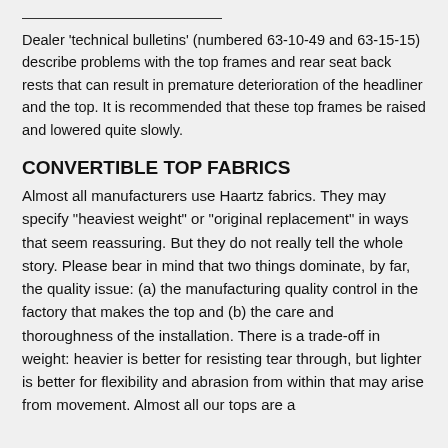Dealer 'technical bulletins' (numbered 63-10-49 and 63-15-15) describe problems with the top frames and rear seat back rests that can result in premature deterioration of the headliner and the top. It is recommended that these top frames be raised and lowered quite slowly.
CONVERTIBLE TOP FABRICS
Almost all manufacturers use Haartz fabrics. They may specify "heaviest weight" or "original replacement" in ways that seem reassuring. But they do not really tell the whole story. Please bear in mind that two things dominate, by far, the quality issue: (a) the manufacturing quality control in the factory that makes the top and (b) the care and thoroughness of the installation. There is a trade-off in weight: heavier is better for resisting tear through, but lighter is better for flexibility and abrasion from within that may arise from movement. Almost all our tops are a